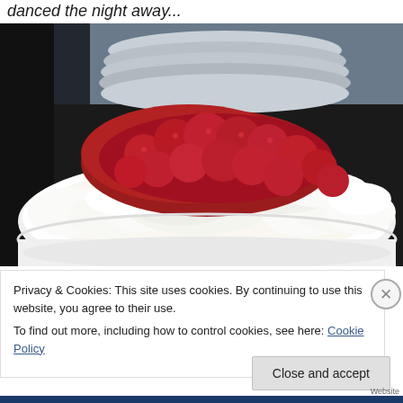danced the night away...
[Figure (photo): A white bowl filled with a pavlova or meringue dessert topped with whipped cream and fresh raspberries. Stacked white plates are visible in the background.]
Privacy & Cookies: This site uses cookies. By continuing to use this website, you agree to their use.
To find out more, including how to control cookies, see here: Cookie Policy
Close and accept